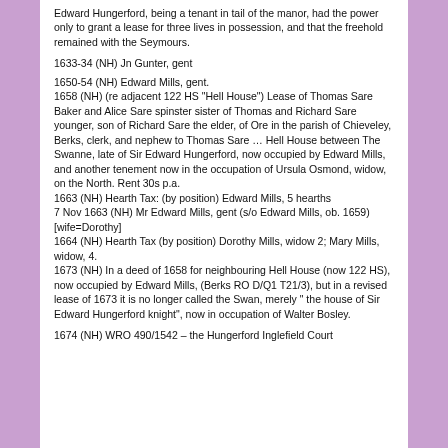Edward Hungerford, being a tenant in tail of the manor, had the power only to grant a lease for three lives in possession, and that the freehold remained with the Seymours.
1633-34 (NH) Jn Gunter, gent
1650-54 (NH) Edward Mills, gent.
1658 (NH) (re adjacent 122 HS "Hell House") Lease of Thomas Sare Baker and Alice Sare spinster sister of Thomas and Richard Sare younger, son of Richard Sare the elder, of Ore in the parish of Chieveley, Berks, clerk, and nephew to Thomas Sare … Hell House between The Swanne, late of Sir Edward Hungerford, now occupied by Edward Mills, and another tenement now in the occupation of Ursula Osmond, widow, on the North. Rent 30s p.a.
1663 (NH) Hearth Tax: (by position) Edward Mills, 5 hearths
7 Nov 1663 (NH) Mr Edward Mills, gent (s/o Edward Mills, ob. 1659) [wife=Dorothy]
1664 (NH) Hearth Tax (by position) Dorothy Mills, widow 2; Mary Mills, widow, 4.
1673 (NH) In a deed of 1658 for neighbouring Hell House (now 122 HS), now occupied by Edward Mills, (Berks RO D/Q1 T21/3), but in a revised lease of 1673 it is no longer called the Swan, merely " the house of Sir Edward Hungerford knight", now in occupation of Walter Bosley.
1674 (NH) WRO 490/1542 – the Hungerford Inglefield Court